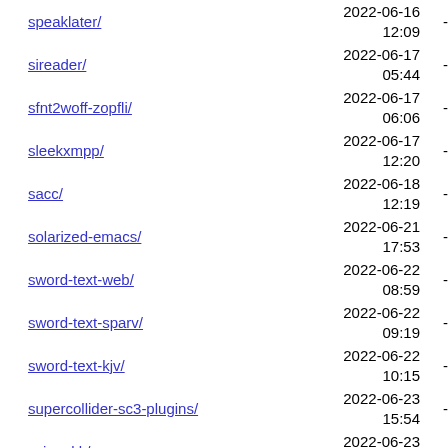speaklater/	2022-06-16 12:09	-
sireader/	2022-06-17 05:44	-
sfnt2woff-zopfli/	2022-06-17 06:06	-
sleekxmpp/	2022-06-17 12:20	-
sacc/	2022-06-18 12:19	-
solarized-emacs/	2022-06-21 17:53	-
sword-text-web/	2022-06-22 08:59	-
sword-text-sparv/	2022-06-22 09:19	-
sword-text-kjv/	2022-06-22 10:15	-
supercollider-sc3-plugins/	2022-06-23 15:54	-
scim-skk/	2022-06-23 17:43	-
...	2022-06-23	-